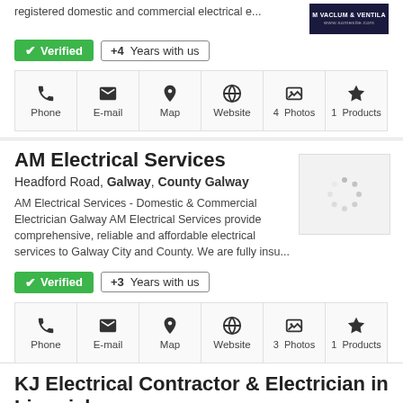registered domestic and commercial electrical e...
✓ Verified   +4 Years with us
Phone  E-mail  Map  Website  📷4 Photos  🔖1 Products
AM Electrical Services
Headford Road, Galway, County Galway
AM Electrical Services - Domestic & Commercial Electrician Galway AM Electrical Services provide comprehensive, reliable and affordable electrical services to Galway City and County. We are fully insu...
✓ Verified   +3 Years with us
Phone  E-mail  Map  Website  📷3 Photos  🔖1 Products
KJ Electrical Contractor & Electrician in Limerick